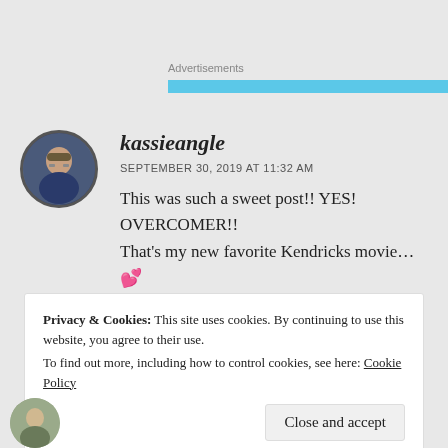Advertisements
[Figure (other): Light blue horizontal advertisement placeholder bar]
kassieangle
SEPTEMBER 30, 2019 AT 11:32 AM
This was such a sweet post!! YES! OVERCOMER!! That's my new favorite Kendricks movie... 💕
Privacy & Cookies: This site uses cookies. By continuing to use this website, you agree to their use. To find out more, including how to control cookies, see here: Cookie Policy
Close and accept